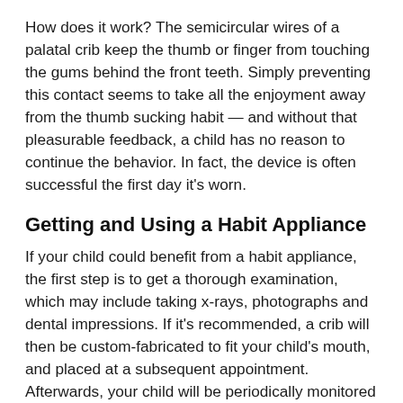How does it work? The semicircular wires of a palatal crib keep the thumb or finger from touching the gums behind the front teeth. Simply preventing this contact seems to take all the enjoyment away from the thumb sucking habit — and without that pleasurable feedback, a child has no reason to continue the behavior. In fact, the device is often successful the first day it's worn.
Getting and Using a Habit Appliance
If your child could benefit from a habit appliance, the first step is to get a thorough examination, which may include taking x-rays, photographs and dental impressions. If it's recommended, a crib will then be custom-fabricated to fit your child's mouth, and placed at a subsequent appointment. Afterwards, your child will be periodically monitored until the appliance is removed — typically, a period of months.